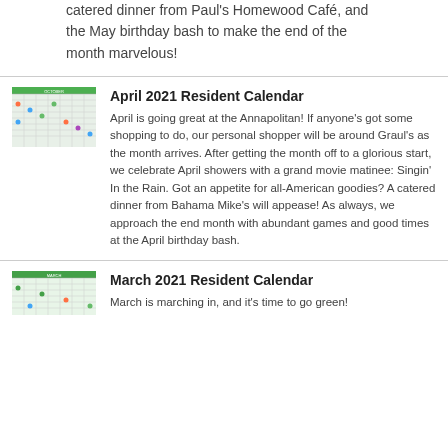catered dinner from Paul's Homewood Café, and the May birthday bash to make the end of the month marvelous!
[Figure (photo): Thumbnail image of April 2021 Resident Calendar]
April 2021 Resident Calendar
April is going great at the Annapolitan! If anyone's got some shopping to do, our personal shopper will be around Graul's as the month arrives. After getting the month off to a glorious start, we celebrate April showers with a grand movie matinee: Singin' In the Rain. Got an appetite for all-American goodies? A catered dinner from Bahama Mike's will appease! As always, we approach the end month with abundant games and good times at the April birthday bash.
[Figure (photo): Thumbnail image of March 2021 Resident Calendar]
March 2021 Resident Calendar
March is marching in, and it's time to go green!